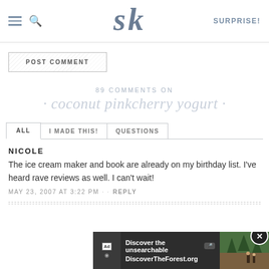SURPRISE! [SK logo]
POST COMMENT
89 COMMENTS ON · coconut pinkcherry yogurt ·
ALL  I MADE THIS!  QUESTIONS
NICOLE
The ice cream maker and book are already on my birthday list. I've heard rave reviews as well. I can't wait!
MAY 23, 2007 AT 3:22 PM · · REPLY
[Figure (screenshot): Advertisement banner: 'Discover the unsearchable / DiscoverTheForest.org' with a forest photo and close button]